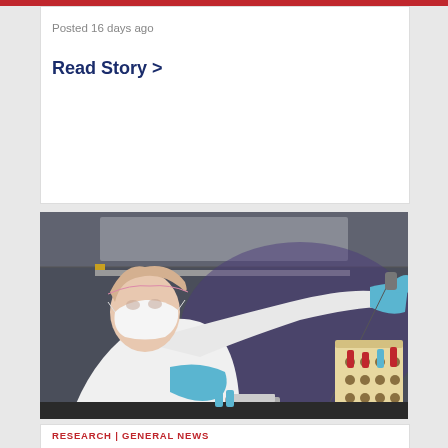Posted 16 days ago
Read Story >
[Figure (photo): A female researcher in white lab coat, N95 mask, and blue nitrile gloves uses a pipette in a laboratory biosafety cabinet, with test tube racks visible on the right.]
RESEARCH | GENERAL NEWS